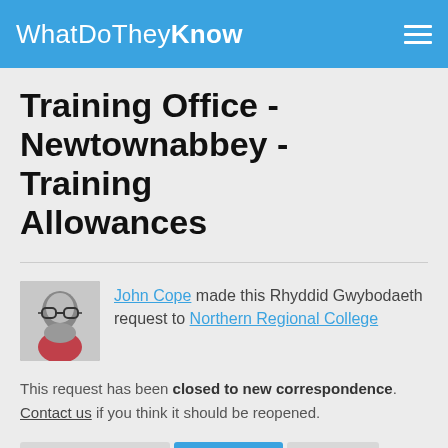WhatDoTheyKnow
Training Office - Newtownabbey - Training Allowances
John Cope made this Rhyddid Gwybodaeth request to Northern Regional College
This request has been closed to new correspondence. Contact us if you think it should be reopened.
Gweithredoedd  Dilynwch  1 dilynwr